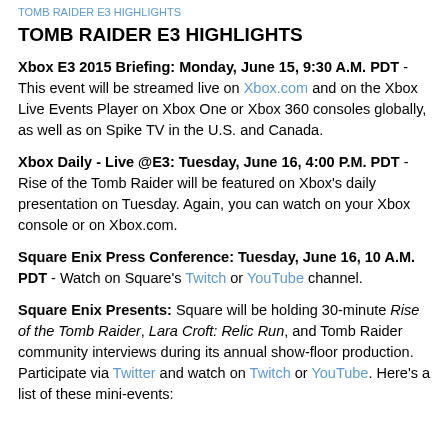TOMB RAIDER E3 HIGHLIGHTS
TOMB RAIDER E3 HIGHLIGHTS
Xbox E3 2015 Briefing: Monday, June 15, 9:30 A.M. PDT - This event will be streamed live on Xbox.com and on the Xbox Live Events Player on Xbox One or Xbox 360 consoles globally, as well as on Spike TV in the U.S. and Canada.
Xbox Daily - Live @E3: Tuesday, June 16, 4:00 P.M. PDT - Rise of the Tomb Raider will be featured on Xbox's daily presentation on Tuesday. Again, you can watch on your Xbox console or on Xbox.com.
Square Enix Press Conference: Tuesday, June 16, 10 A.M. PDT - Watch on Square's Twitch or YouTube channel.
Square Enix Presents: Square will be holding 30-minute Rise of the Tomb Raider, Lara Croft: Relic Run, and Tomb Raider community interviews during its annual show-floor production. Participate via Twitter and watch on Twitch or YouTube. Here's a list of these mini-events: